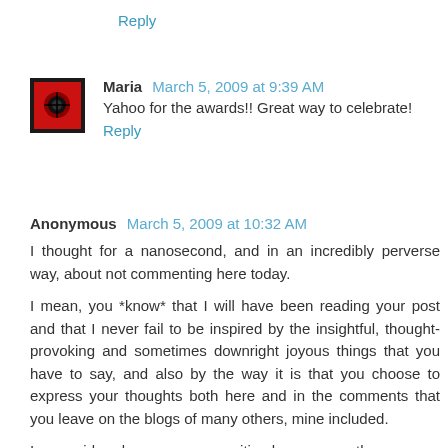Reply
Maria  March 5, 2009 at 9:39 AM
Yahoo for the awards!! Great way to celebrate!
Reply
Anonymous  March 5, 2009 at 10:32 AM
I thought for a nanosecond, and in an incredibly perverse way, about not commenting here today.
I mean, you *know* that I will have been reading your post and that I never fail to be inspired by the insightful, thought-provoking and sometimes downright joyous things that you have to say, and also by the way it is that you choose to express your thoughts both here and in the comments that you leave on the blogs of many others, mine included.
I reconsidered my perverse position however, as there would it be...